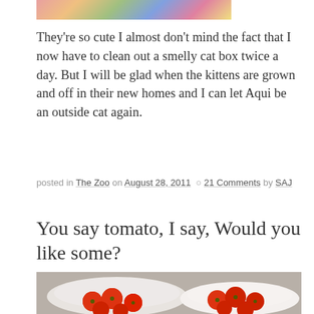[Figure (photo): Partial top image showing colorful pattern or fabric, cropped at top of page]
They're so cute I almost don't mind the fact that I now have to clean out a smelly cat box twice a day. But I will be glad when the kittens are grown and off in their new homes and I can let Aqui be an outside cat again.
posted in The Zoo on August 28, 2011  ○ 21 Comments by SAJ
You say tomato, I say, Would you like some?
[Figure (photo): Photo of red tomatoes in two white bowls/containers on a gray surface, viewed from above]